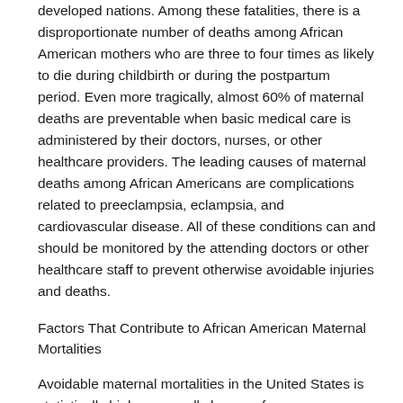developed nations. Among these fatalities, there is a disproportionate number of deaths among African American mothers who are three to four times as likely to die during childbirth or during the postpartum period. Even more tragically, almost 60% of maternal deaths are preventable when basic medical care is administered by their doctors, nurses, or other healthcare providers. The leading causes of maternal deaths among African Americans are complications related to preeclampsia, eclampsia, and cardiovascular disease. All of these conditions can and should be monitored by the attending doctors or other healthcare staff to prevent otherwise avoidable injuries and deaths.
Factors That Contribute to African American Maternal Mortalities
Avoidable maternal mortalities in the United States is statistically high among all classes of women. However, black American women are particularly at risk because of genetic factor as well as health system failures and societal